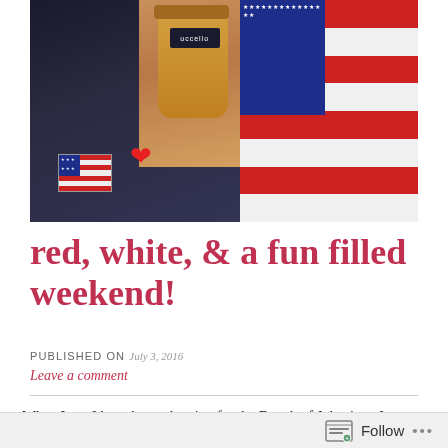[Figure (photo): Photo showing a person holding a coffee cup, a small American flag, a red heart emoji sticker, and someone wearing an American flag bikini top]
red, white, & a fun filled weekend!
PUBLISHED ON July 3, 2016
Leave a comment
When I say I have been planning for the Fourth of July since January, I am not kidding! For work I will be organizing my towns Fourth of July parade, which is  a really really realllly big deal! I have 58 groups, 4